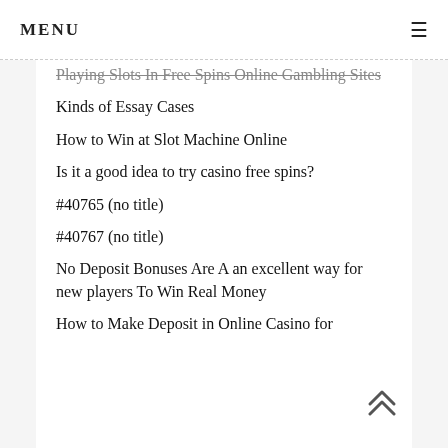MENU
Playing Slots In Free Spins Online Gambling Sites
Kinds of Essay Cases
How to Win at Slot Machine Online
Is it a good idea to try casino free spins?
#40765 (no title)
#40767 (no title)
No Deposit Bonuses Are A an excellent way for new players To Win Real Money
How to Make Deposit in Online Casino for